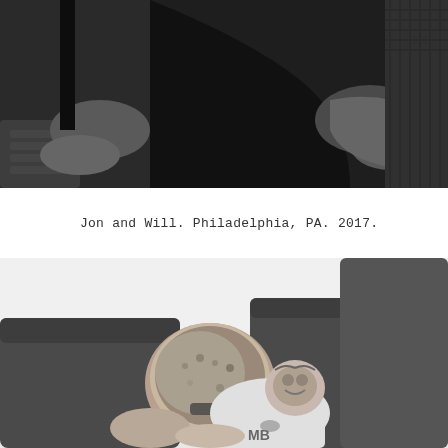[Figure (photo): Black and white photograph taken from above showing two people's legs and feet on what appears to be a couch or seating area. Dark fabric visible, one person wearing a sock on left side.]
Jon and Will. Philadelphia, PA. 2017.
[Figure (photo): Black and white photograph taken from above showing a person with short hair and a tattoo on their shoulder/arm, wearing a white tank top, seated on a dark grey couch, leaning forward with head bowed.]